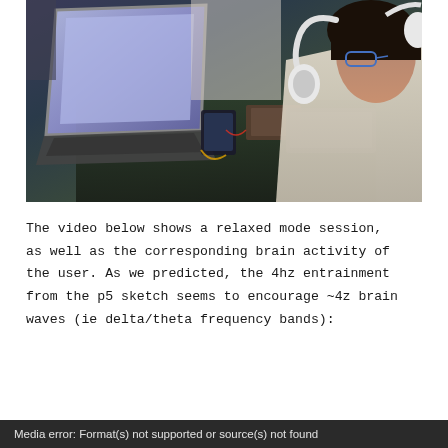[Figure (photo): Photo of a person wearing white headphones sitting at a desk with a laptop and tablet, appearing to participate in a brain-computer interface session. Electronic equipment and cables visible on the desk.]
The video below shows a relaxed mode session, as well as the corresponding brain activity of the user. As we predicted, the 4hz entrainment from the p5 sketch seems to encourage ~4z brain waves (ie delta/theta frequency bands):
Media error: Format(s) not supported or source(s) not found